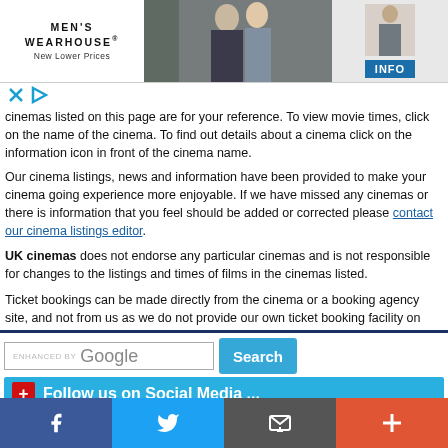[Figure (photo): Men's Wearhouse advertisement banner showing a couple in formalwear and a man in a suit, with INFO button]
cinemas listed on this page are for your reference. To view movie times, click on the name of the cinema. To find out details about a cinema click on the information icon in front of the cinema name.
Our cinema listings, news and information have been provided to make your cinema going experience more enjoyable. If we have missed any cinemas or there is information that you feel should be added or corrected please contact our cinema listings editor.
UK cinemas does not endorse any particular cinemas and is not responsible for changes to the listings and times of films in the cinemas listed.
Ticket bookings can be made directly from the cinema or a booking agency site, and not from us as we do not provide our own ticket booking facility on this site. UK cinemas will not mediate or get involved in any disputes or problems regarding the film times or the service at any of the cinemas listed on this page.
[Figure (screenshot): Google search box with Search button]
Follow us on Social Media ...
UK information  UK Cinemas  Brandon information  Cont@ct us
[Figure (infographic): Social media icon bar: Facebook, Twitter, Email, Google Plus]